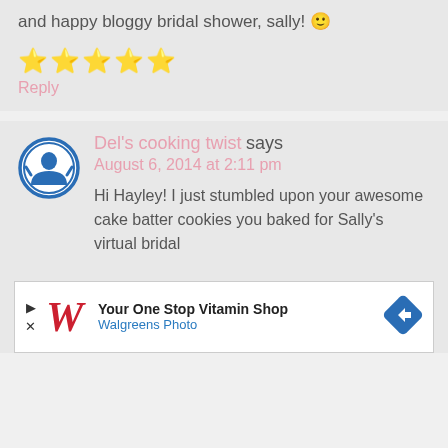and happy bloggy bridal shower, sally! 🙂
★★★★★
Reply
Del's cooking twist says
August 6, 2014 at 2:11 pm
Hi Hayley! I just stumbled upon your awesome cake batter cookies you baked for Sally's virtual bridal
[Figure (infographic): Walgreens Photo advertisement banner: 'Your One Stop Vitamin Shop' with Walgreens logo and navigation arrow icon]